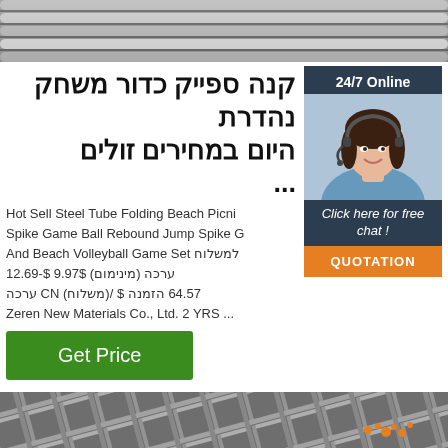[Figure (photo): Steel round bars/rods, close-up photo, gray metallic, horizontal orientation]
קנה ספייק כדור משחק נהדרת היום במחירים זולים ...
Hot Sell Steel Tube Folding Beach Picni Spike Game Ball Rebound Jump Spike G And Beach Volleyball Game Set למשלוח ערכה (מינימום) $-u200f9.97 $-u200f12.69 ערכה CN (משלוח)/ $ u200f64.57 הזמנה Zeren New Materials Co., Ltd. 2 YRS ...
[Figure (photo): Customer service agent woman with headset, smiling, in sidebar]
24/7 Online
Click here for free chat !
QUOTATION
Get Price
[Figure (photo): Steel angle bars/L-profiles stacked, metallic gray, viewed from angle, with TOP logo overlay]